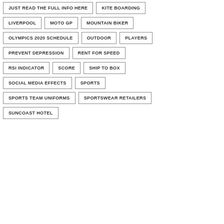JUST READ THE FULL INFO HERE
KITE BOARDING
LIVERPOOL
MOTO GP
MOUNTAIN BIKER
OLYMPICS 2020 SCHEDULE
OUTDOOR
PLAYERS
PREVENT DEPRESSION
RENT FOR SPEED
RSI INDICATOR
SCORE
SHIP TO BOX
SOCIAL MEDIA EFFECTS
SPORTS
SPORTS TEAM UNIFORMS
SPORTSWEAR RETAILERS
SUNCOAST HOTEL